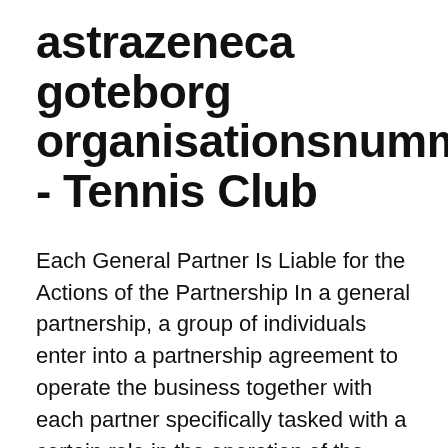astrazeneca goteborg organisationsnummer - Tennis Club
Each General Partner Is Liable for the Actions of the Partnership In a general partnership, a group of individuals enter into a partnership agreement to operate the business together with each partner specifically tasked with a certain role in the operation of the partnership. General Partnership (GP) In a general partnership, all partners share equal rights and … General Partnership Liability for Financial Institutions — Provides protection of general partners in lawsuits alleging a breach of duty, neglect, error, omission, and/or misstatement or other wrongful acts The General Partners shall